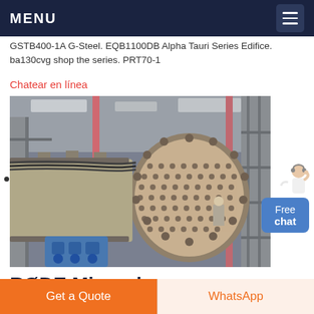MENU
GSTB400-1A G-Steel. EQB1100DB Alpha Tauri Series Edifice. ba130cvg shop the series. PRT70-1
Chatear en línea
[Figure (photo): Industrial photograph of a large cylindrical heat exchanger or pressure vessel with perforated tube sheet, pink/red vertical pipes, metal scaffolding, and blue machinery in a factory setting]
Free chat
RØDE Microphones
Receivers. Transmitters. RodeLink. If you are looking for a
Get a Quote
WhatsApp